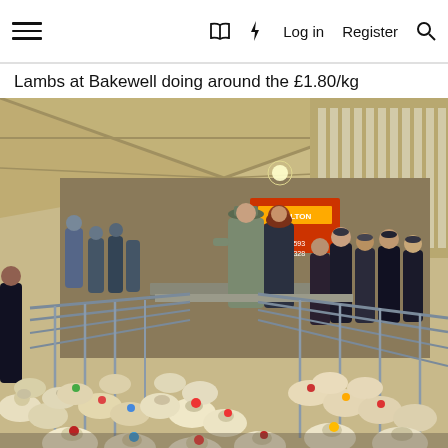≡  🔖  ⚡  Log in  Register  🔍
Lambs at Bakewell doing around the £1.80/kg
[Figure (photo): Indoor livestock auction at Bakewell showing pens filled with lambs in the foreground, two people (an auctioneer in a grey-green coat and hat, and a woman in a dark jacket) standing on a raised walkway above the pens, with a crowd of buyers in dark coats standing along the right side, and a large shed structure with corrugated metal roof visible in the background along with an electronic display board.]